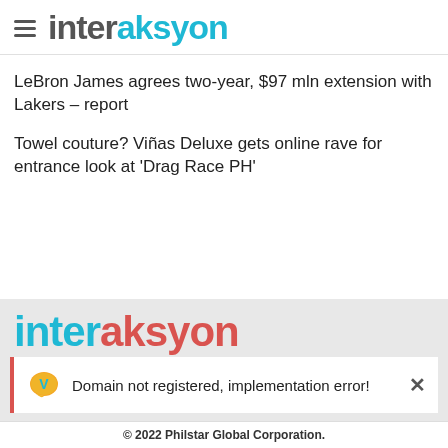interaksyon
LeBron James agrees two-year, $97 mln extension with Lakers – report
Towel couture? Viñas Deluxe gets online rave for entrance look at 'Drag Race PH'
[Figure (logo): Interaksyon logo in footer area, large text with 'inter' in cyan and 'aksyon' in red/pink]
Domain not registered, implementation error!
© 2022 Philstar Global Corporation.